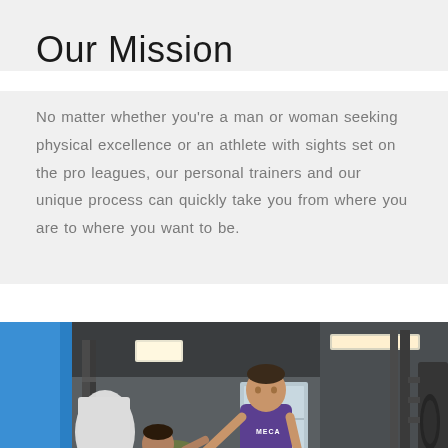Our Mission
No matter whether you're a man or woman seeking physical excellence or an athlete with sights set on the pro leagues, our personal trainers and our unique process can quickly take you from where you are to where you want to be.
[Figure (photo): A personal trainer wearing a purple MECA shirt assists a client in a gym setting with blue walls, overhead lighting, squat racks, and exercise equipment visible in the background.]